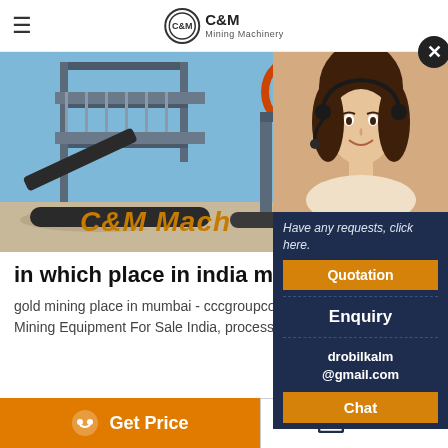C&M Mining Machinery
[Figure (photo): Mining machinery equipment at an industrial site with blue sky background, with C&M Mach text overlay in gold italic]
[Figure (photo): Customer service woman with headset smiling, overlaid on dark navy popup with Have any requests click here text, Quotation button, Enquiry link, drobilkalm@gmail.com email, and Chat button]
in which place in india mines of go
gold mining place in mumbai - cccgroupco... Mining Equipment For Sale India, process...
Get Price  Send